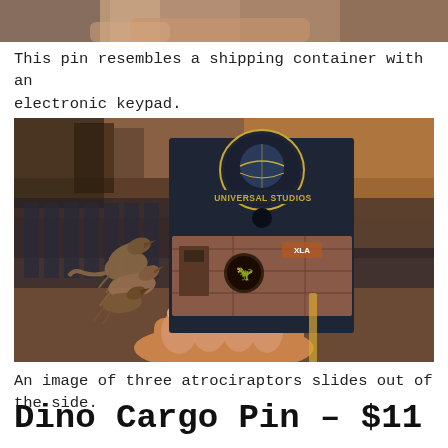[Figure (photo): Top portion of a photo showing hands holding a pin, cropped at top of page]
This pin resembles a shipping container with an electronic keypad.
[Figure (photo): A person holds a Universal Studios Jurassic World Dino Cargo pin showing a shipping container with three atrociraptor figures sliding out from the side.]
An image of three atrociraptors slides out of the side.
Dino Cargo Pin – $11